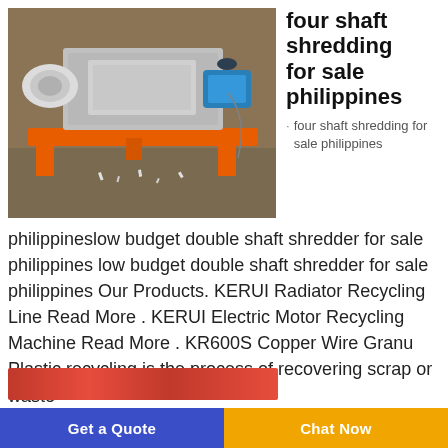[Figure (photo): Industrial four-shaft shredding machine with orange metal frame and electric motors, photographed in a workshop setting]
four shaft shredding for sale philippines
four shaft shredding for sale philippines
philippineslow budget double shaft shredder for sale philippines low budget double shaft shredder for sale philippines Our Products. KERUI Radiator Recycling Line Read More . KERUI Electric Motor Recycling Machine Read More . KR600S Copper Wire Granu Plastic recycling is the process of recovering scrap or waste
[Figure (photo): Partially visible image at the bottom of the page, appears to show red and black machinery or equipment]
Get a Quote  |  Chat Now